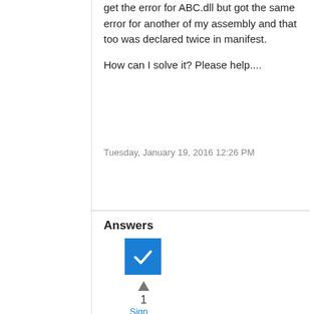get the error for ABC.dll but got the same error for another of my assembly and that too was declared twice in manifest.

How can I solve it? Please help....
Tuesday, January 19, 2016 12:26 PM
Answers
[Figure (other): Blue checkbox icon with white checkmark, vote up arrow, vote count 1, and Sign link below]
1
Sign